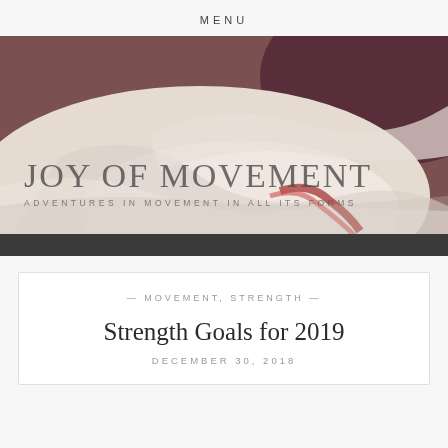MENU
[Figure (photo): Hero banner showing ballet pointe shoes in soft cream tones with a dark bar at the bottom. Overlaid text reads 'JOY OF MOVEMENT' and 'ADVENTURES IN MOVEMENT IN ALL ITS FORMS'.]
JOY OF MOVEMENT
ADVENTURES IN MOVEMENT IN ALL ITS FORMS
— MOVEMENT, STRENGTH —
Strength Goals for 2019
DECEMBER 30, 2018